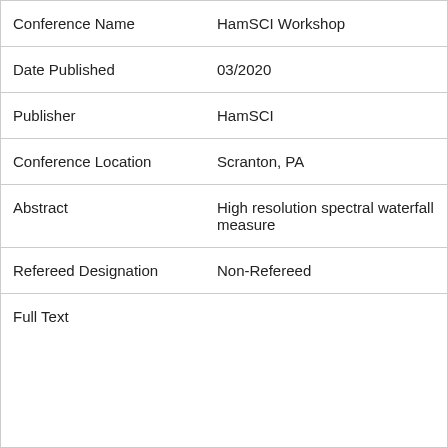| Field | Value |
| --- | --- |
| Conference Name | HamSCI Workshop |
| Date Published | 03/2020 |
| Publisher | HamSCI |
| Conference Location | Scranton, PA |
| Abstract | High resolution spectral waterfall measure |
| Refereed Designation | Non-Refereed |
| Full Text |  |